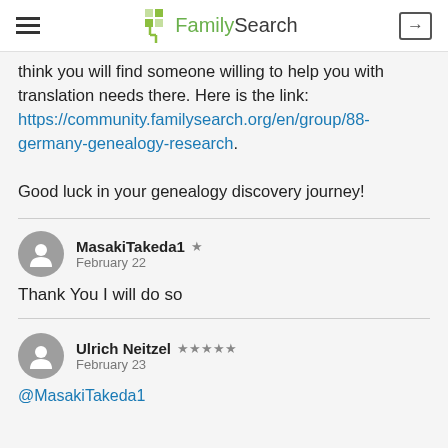FamilySearch
think you will find someone willing to help you with translation needs there. Here is the link: https://community.familysearch.org/en/group/88-germany-genealogy-research.

Good luck in your genealogy discovery journey!
MasakiTakeda1 ★ February 22
Thank You I will do so
Ulrich Neitzel ★★★★★ February 23
@MasakiTakeda1